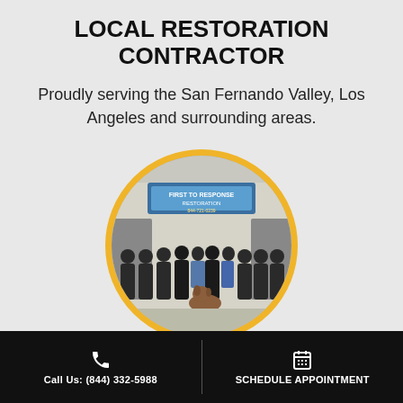LOCAL RESTORATION CONTRACTOR
Proudly serving the San Fernando Valley, Los Angeles and surrounding areas.
[Figure (photo): Circular photo of the First To Response Restoration team, group of about 12 people in dark uniforms standing in front of a building with a company sign, with a dog in the foreground. Bordered by a thick gold/yellow circle.]
24/7 RESPONSE TEAM
Call Us: (844) 332-5988  SCHEDULE APPOINTMENT